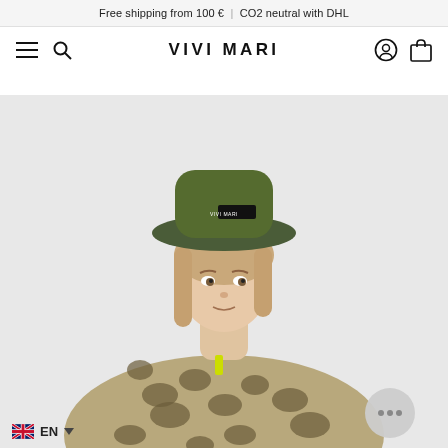Free shipping from 100 € | CO2 neutral with DHL
[Figure (logo): VIVI MARI brand logo with navigation icons: hamburger menu, search icon, brand name VIVI MARI, user account icon, shopping bag icon]
[Figure (photo): Woman wearing an olive green bucket hat with VIVI MARI label and a leopard print jacket, looking over her shoulder against a light grey background]
EN